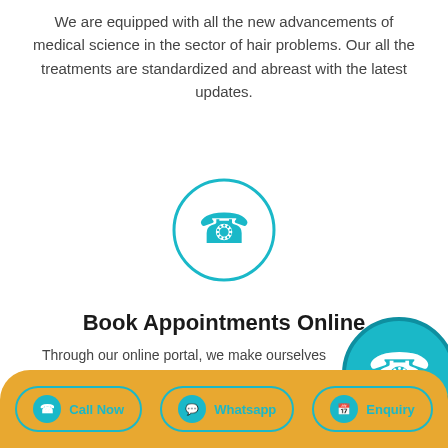We are equipped with all the new advancements of medical science in the sector of hair problems. Our all the treatments are standardized and abreast with the latest updates.
[Figure (illustration): Teal phone handset icon inside a teal circle outline, centered on white background]
Book Appointments Online
Through our online portal, we make ourselves available at your service. You can book an appointment with expert doctors online very easily.
[Figure (illustration): Teal phone handset icon inside a solid teal filled circle, positioned at bottom right]
Call Now   Whatsapp   Enquiry